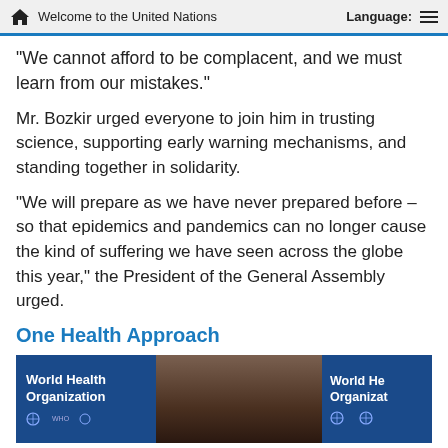Welcome to the United Nations  Language:
“We cannot afford to be complacent, and we must learn from our mistakes.”
Mr. Bozkir urged everyone to join him in trusting science, supporting early warning mechanisms, and standing together in solidarity.
“We will prepare as we have never prepared before – so that epidemics and pandemics can no longer cause the kind of suffering we have seen across the globe this year,” the President of the General Assembly urged.
One Health Approach
[Figure (photo): A person (WHO official) at a World Health Organization press briefing, flanked by WHO branded backdrops on both sides.]